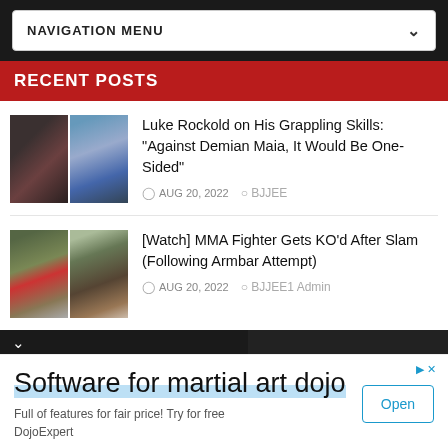NAVIGATION MENU
RECENT POSTS
[Figure (photo): Two-panel thumbnail: grappling/BJJ match on left, fighter portrait on right with blue background]
Luke Rockold on His Grappling Skills: "Against Demian Maia, It Would Be One-Sided"
AUG 20, 2022  BJJEE
[Figure (photo): Two-panel thumbnail: MMA fight scenes with red/yellow mat colors]
[Watch] MMA Fighter Gets KO'd After Slam (Following Armbar Attempt)
AUG 20, 2022  BJJEE1 Admin
[Figure (infographic): Advertisement: Software for martial art dojo – Full of features for fair price! Try for free. DojoExpert. Open button.]